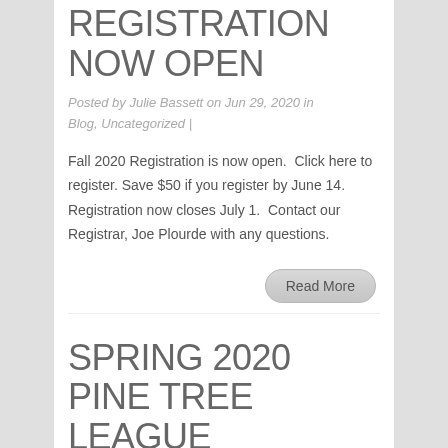FALL 2020 REGISTRATION NOW OPEN
Posted by Julie Bassett on Jun 29, 2020 in Blog, Uncategorized |
Fall 2020 Registration is now open.  Click here to register. Save $50 if you register by June 14.  Registration now closes July 1.  Contact our Registrar, Joe Plourde with any questions.
Read More
SPRING 2020 PINE TREE LEAGUE UPDATE